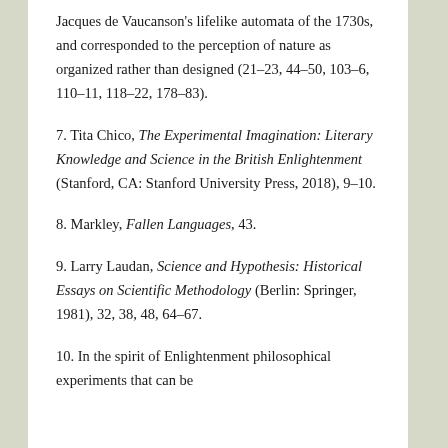Jacques de Vaucanson's lifelike automata of the 1730s, and corresponded to the perception of nature as organized rather than designed (21–23, 44–50, 103–6, 110–11, 118–22, 178–83).
7. Tita Chico, The Experimental Imagination: Literary Knowledge and Science in the British Enlightenment (Stanford, CA: Stanford University Press, 2018), 9–10.
8. Markley, Fallen Languages, 43.
9. Larry Laudan, Science and Hypothesis: Historical Essays on Scientific Methodology (Berlin: Springer, 1981), 32, 38, 48, 64–67.
10. In the spirit of Enlightenment philosophical experiments that can be